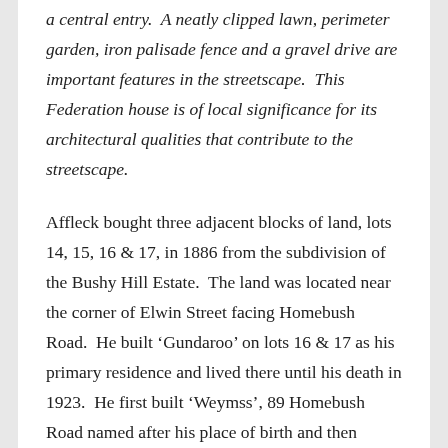a central entry.  A neatly clipped lawn, perimeter garden, iron palisade fence and a gravel drive are important features in the streetscape.  This Federation house is of local significance for its architectural qualities that contribute to the streetscape.
Affleck bought three adjacent blocks of land, lots 14, 15, 16 & 17, in 1886 from the subdivision of the Bushy Hill Estate.  The land was located near the corner of Elwin Street facing Homebush Road.  He built ‘Gundaroo’ on lots 16 & 17 as his primary residence and lived there until his death in 1923.  He first built ‘Weymss’, 89 Homebush Road named after his place of birth and then ‘Gundaroo’ 93 Homebush Road